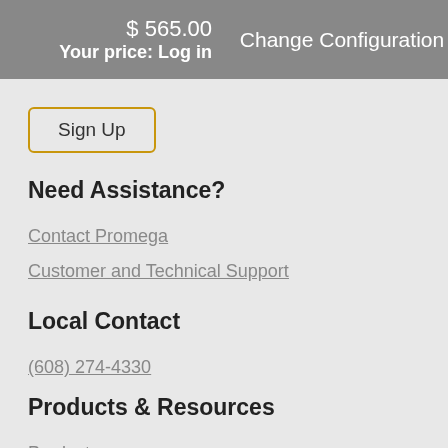$ 565.00
Your price: Log in
Change Configuration
Sign Up
Need Assistance?
Contact Promega
Customer and Technical Support
Local Contact
(608) 274-4330
Products & Resources
Products